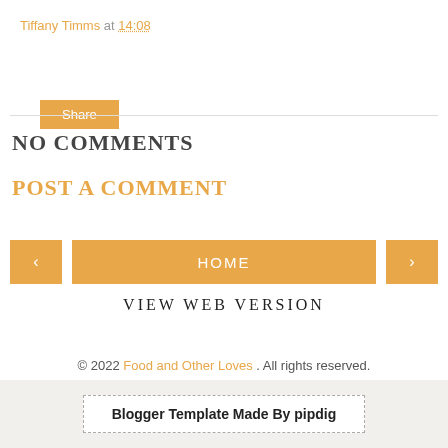Tiffany Timms at 14:08
Share
NO COMMENTS
POST A COMMENT
‹  HOME  ›
VIEW WEB VERSION
© 2022 Food and Other Loves . All rights reserved.
Blogger Template Made By pipdig